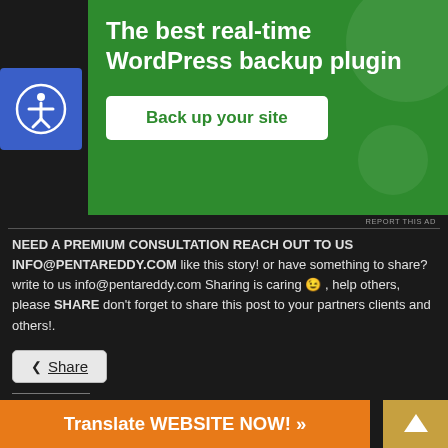[Figure (screenshot): Green advertisement banner for WordPress backup plugin with white 'Back up your site' button]
REPORT THIS AD
NEED A PREMIUM CONSULTATION REACH OUT TO US INFO@PENTAREDDY.COM like this story! or have something to share? write to us info@pentareddy.com Sharing is caring 😉 , help others, please SHARE don't forget to share this post to your partners clients and others!.
Share
Like this:
Like
Be the first to like this.
Translate WEBSITE NOW! »